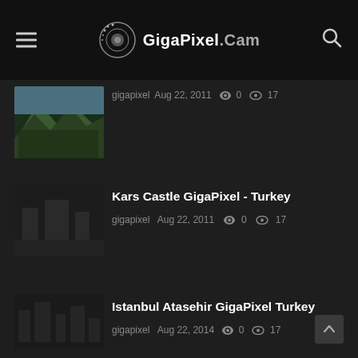GigaPixel.Cam
[Figure (photo): Thumbnail of mountain landscape with village, partially cut off at top]
gigapixel  Aug 22, 2011  0  17
[Figure (photo): Dark thumbnail for Kars Castle GigaPixel - Turkey]
Kars Castle GigaPixel - Turkey
gigapixel  Aug 22, 2011  0  17
[Figure (photo): Dark thumbnail for Istanbul Atasehir GigaPixel Turkey]
Istanbul Atasehir GigaPixel Turkey
gigapixel  Aug 22, 2014  0  17